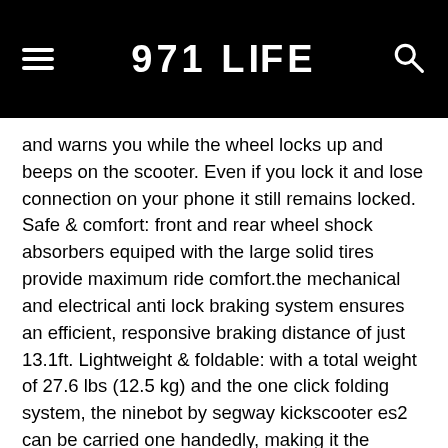971 LIFE
and warns you while the wheel locks up and beeps on the scooter. Even if you lock it and lose connection on your phone it still remains locked. Safe & comfort: front and rear wheel shock absorbers equiped with the large solid tires provide maximum ride comfort.the mechanical and electrical anti lock braking system ensures an efficient, responsive braking distance of just 13.1ft. Lightweight & foldable: with a total weight of 27.6 lbs (12.5 kg) and the one click folding system, the ninebot by segway kickscooter es2 can be carried one handedly, making it the perfect lightweight travel companion. About us: segway ninebot,a worldwide leader in electric personal transportation, is setting the new standard of electric scooter.segway longway is the authorized dealer of segway ninebot products in north america. Comparison for electric kickscooter es1/es2 electric kickscooter es1 item weight: 25 lbs (11.3 kg) max speed: 12 mph (20 km/h) battery capacity: 187wh max climbing angle: 10 degrees travel distance(depends on riding style and terrain): 15.5